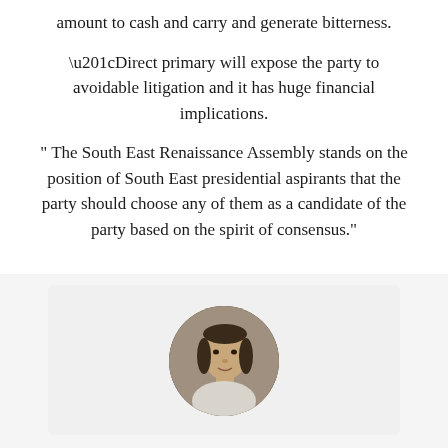amount to cash and carry and generate bitterness.
“Direct primary will expose the party to avoidable litigation and it has huge financial implications.
” The South East Renaissance Assembly stands on the position of South East presidential aspirants that the party should choose any of them as a candidate of the party based on the spirit of consensus.”
[Figure (photo): Circular profile photo of a person wearing a light-colored top, shown from shoulders up, with a grey/light background inside a rounded card.]